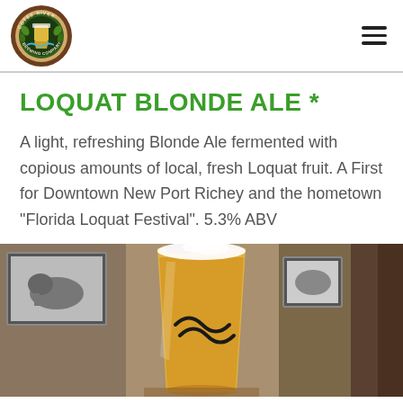[Figure (logo): Cotee River Brewing Company circular logo with a beer glass and hops imagery]
LOQUAT BLONDE ALE *
A light, refreshing Blonde Ale fermented with copious amounts of local, fresh Loquat fruit. A First for Downtown New Port Richey and the hometown “Florida Loquat Festival”. 5.3% ABV
[Figure (photo): A pint glass of golden blonde ale with a logo on the glass, sitting on a bar with framed black and white photos in the background]